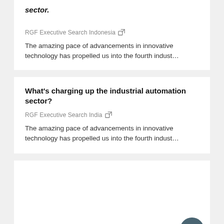sector.
RGF Executive Search Indonesia
The amazing pace of advancements in innovative technology has propelled us into the fourth indust…
What's charging up the industrial automation sector?
RGF Executive Search India
The amazing pace of advancements in innovative technology has propelled us into the fourth indust…